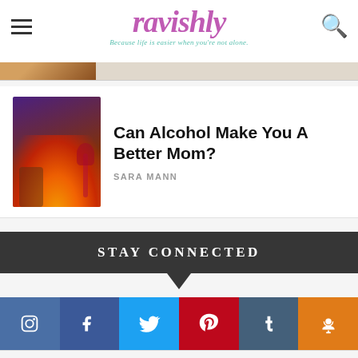ravishly — Because life is easier when you're not alone.
[Figure (photo): Small thumbnail image of a person holding a wine glass near a fireplace]
Can Alcohol Make You A Better Mom?
SARA MANN
STAY CONNECTED
[Figure (infographic): Row of social media icon buttons: Instagram, Facebook, Twitter, Pinterest, Tumblr, Podcast in colored boxes]